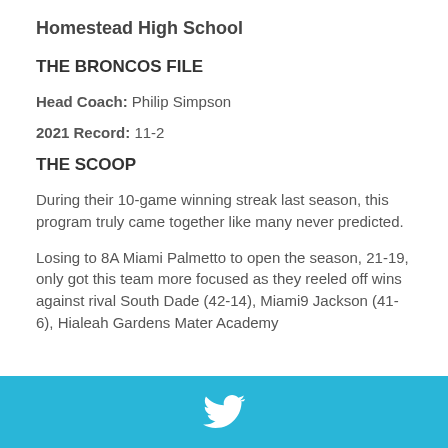Homestead High School
THE BRONCOS FILE
Head Coach: Philip Simpson
2021 Record: 11-2
THE SCOOP
During their 10-game winning streak last season, this program truly came together like many never predicted.
Losing to 8A Miami Palmetto to open the season, 21-19, only got this team more focused as they reeled off wins against rival South Dade (42-14), Miami9 Jackson (41-6), Hialeah Gardens Mater Academy
Twitter icon